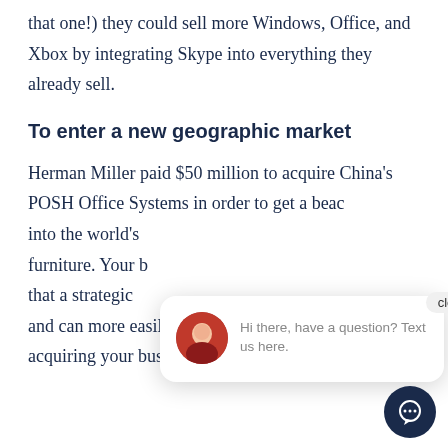that one!) they could sell more Windows, Office, and Xbox by integrating Skype into everything they already sell.
To enter a new geographic market
Herman Miller paid $50 million to acquire China's POSH Office Systems in order to get a beachhead into the world's largest market for office furniture. Your business may be in a position that a strategic buyer recognizes this opportunity and can more easily and quickly set up shop by acquiring your business.